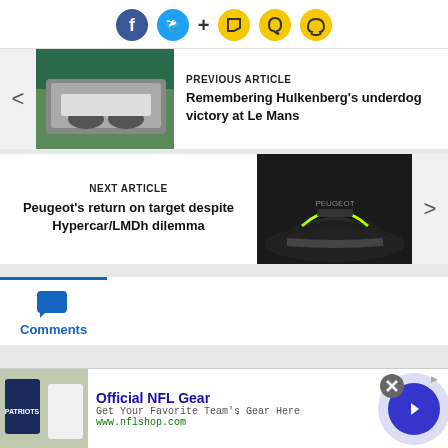[Figure (infographic): Social sharing toolbar with Facebook, Twitter, plus, bookmark, Snapchat, and chat icons]
[Figure (photo): Racing team celebrating on podium with white car at Le Mans]
PREVIOUS ARTICLE
Remembering Hulkenberg's underdog victory at Le Mans
NEXT ARTICLE
Peugeot's return on target despite Hypercar/LMDh dilemma
[Figure (photo): Peugeot hypercar in black and green driving on racetrack]
[Figure (infographic): Comments section tab with chat bubble icon and blue underline]
[Figure (infographic): Advertisement banner for Official NFL Gear from nflshop.com with close button and arrow button]